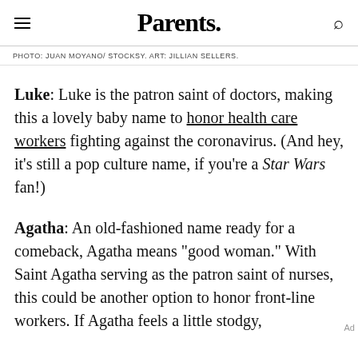Parents.
PHOTO: JUAN MOYANO/ STOCKSY. ART: JILLIAN SELLERS.
Luke: Luke is the patron saint of doctors, making this a lovely baby name to honor health care workers fighting against the coronavirus. (And hey, it's still a pop culture name, if you're a Star Wars fan!)
Agatha: An old-fashioned name ready for a comeback, Agatha means "good woman." With Saint Agatha serving as the patron saint of nurses, this could be another option to honor front-line workers. If Agatha feels a little stodgy,